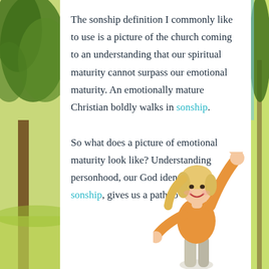The sonship definition I commonly like to use is a picture of the church coming to an understanding that our spiritual maturity cannot surpass our emotional maturity. An emotionally mature Christian boldly walks in sonship.

So what does a picture of emotional maturity look like? Understanding personhood, our God identity, our sonship, gives us a path to
[Figure (photo): A young woman with blonde hair, smiling joyfully with arms raised, wearing an orange top and light pants, photographed against a white background, appearing in the lower right portion of the page.]